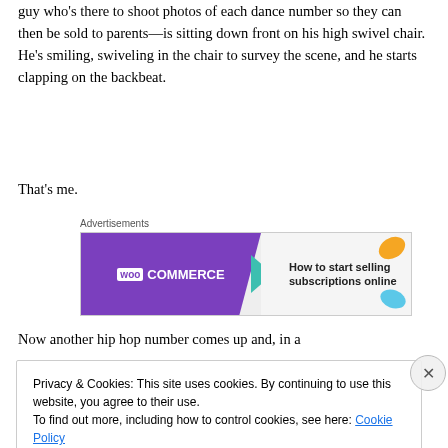guy who’s there to shoot photos of each dance number so they can then be sold to parents—is sitting down front on his high swivel chair. He’s smiling, swiveling in the chair to survey the scene, and he starts clapping on the backbeat.
That’s me.
[Figure (other): WooCommerce advertisement banner: 'How to start selling subscriptions online']
Now another hip hop number comes up and, in a
Privacy & Cookies: This site uses cookies. By continuing to use this website, you agree to their use.
To find out more, including how to control cookies, see here: Cookie Policy
Close and accept